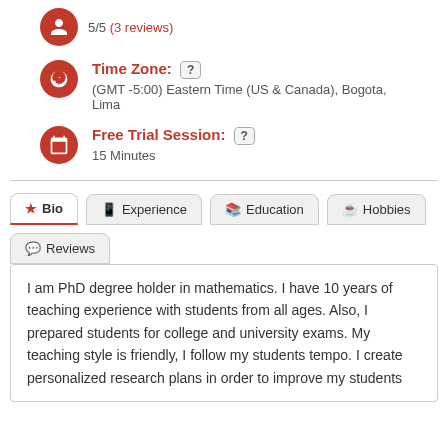5/5 (3 reviews)
Time Zone: (GMT -5:00) Eastern Time (US & Canada), Bogota, Lima
Free Trial Session: 15 Minutes
Bio | Experience | Education | Hobbies | Reviews
I am PhD degree holder in mathematics. I have 10 years of teaching experience with students from all ages. Also, I prepared students for college and university exams. My teaching style is friendly, I follow my students tempo. I create personalized research plans in order to improve my students